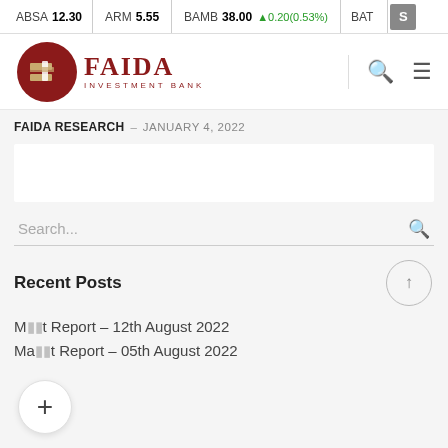ABSA 12.30 | ARM 5.55 | BAMB 38.00 ▲0.20(0.53%) | BAT S
[Figure (logo): Faida Investment Bank logo with dark red circle and stylized F icon, navigation icons including search and hamburger menu]
FAIDA RESEARCH – JANUARY 4, 2022
Search...
Recent Posts
Market Report – 12th August 2022
Market Report – 05th August 2022